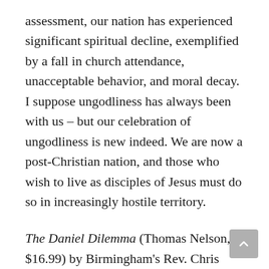assessment, our nation has experienced significant spiritual decline, exemplified by a fall in church attendance, unacceptable behavior, and moral decay. I suppose ungodliness has always been with us – but our celebration of ungodliness is new indeed. We are now a post-Christian nation, and those who wish to live as disciples of Jesus must do so in increasingly hostile territory.
The Daniel Dilemma (Thomas Nelson, $16.99) by Birmingham's Rev. Chris Hodges offers timely advice for Christians who want to influence our culture instead of being influenced by it.